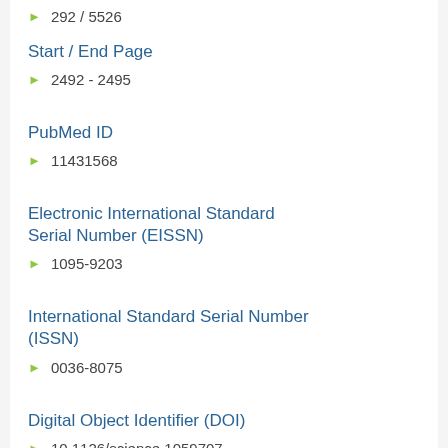292 / 5526
Start / End Page
2492 - 2495
PubMed ID
11431568
Electronic International Standard Serial Number (EISSN)
1095-9203
International Standard Serial Number (ISSN)
0036-8075
Digital Object Identifier (DOI)
10.1126/science.1059707